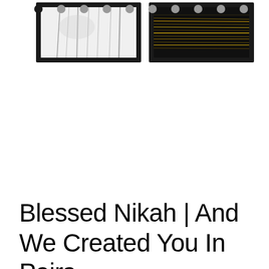[Figure (illustration): Two framed art prints side by side. Left frame shows an abstract dark drip/splash painting on white background. Right frame shows an abstract dark/gold textured horizontal painting. Both have dark/black frames.]
[Figure (other): Row of 10 pagination dots. The first dot is solid black (active), the remaining 9 are gray (inactive).]
Blessed Nikah | And We Created You In Pairs